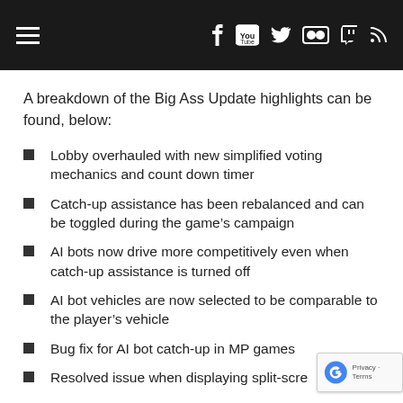Navigation header with hamburger menu and social icons (Facebook, YouTube, Twitter, Flickr, Twitch, RSS)
A breakdown of the Big Ass Update highlights can be found, below:
Lobby overhauled with new simplified voting mechanics and count down timer
Catch-up assistance has been rebalanced and can be toggled during the game’s campaign
AI bots now drive more competitively even when catch-up assistance is turned off
AI bot vehicles are now selected to be comparable to the player’s vehicle
Bug fix for AI bot catch-up in MP games
Resolved issue when displaying split-screen